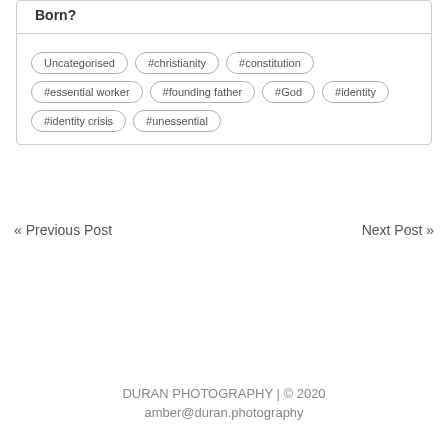Born?
Uncategorised
#christianity
#constitution
#essential worker
#founding father
#God
#identity
#identity crisis
#unessential
« Previous Post
Next Post »
DURAN PHOTOGRAPHY | © 2020
amber@duran.photography